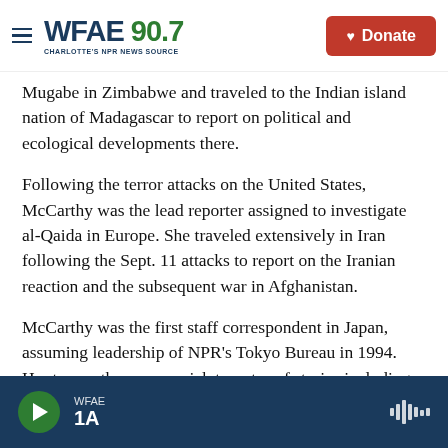WFAE 90.7 — CHARLOTTE'S NPR NEWS SOURCE | Donate
Mugabe in Zimbabwe and traveled to the Indian island nation of Madagascar to report on political and ecological developments there.
Following the terror attacks on the United States, McCarthy was the lead reporter assigned to investigate al-Qaida in Europe. She traveled extensively in Iran following the Sept. 11 attacks to report on the Iranian reaction and the subsequent war in Afghanistan.
McCarthy was the first staff correspondent in Japan, assuming leadership of NPR's Tokyo Bureau in 1994. Her tenure there was a rich tapestry of stories including including the Kobe earthquake of 1995, the 50th anniversary of the atomic bombing of Hiroshima and the
WFAE 1A